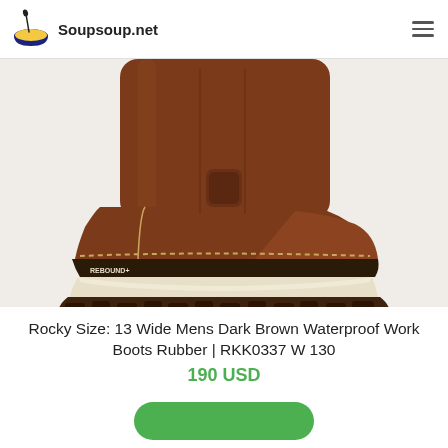Soupsoup.net
[Figure (photo): Close-up product photo of a Rocky dark brown waterproof work boot showing the lower shaft, heel, and sole with cream/white midsole and REBOUND+ branding on the outsole.]
Rocky Size: 13 Wide Mens Dark Brown Waterproof Work Boots Rubber | RKK0337 W 130
190 USD